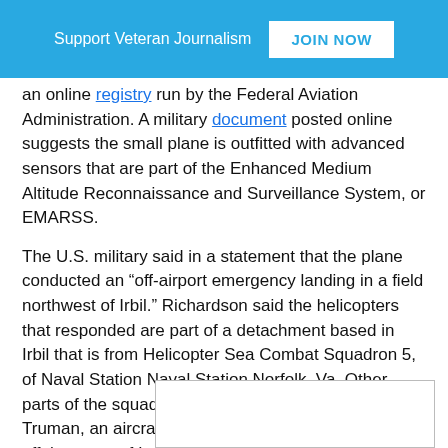Support Veteran Journalism  JOIN NOW
an online registry run by the Federal Aviation Administration. A military document posted online suggests the small plane is outfitted with advanced sensors that are part of the Enhanced Medium Altitude Reconnaissance and Surveillance System, or EMARSS.
The U.S. military said in a statement that the plane conducted an “off-airport emergency landing in a field northwest of Irbil.” Richardson said the helicopters that responded are part of a detachment based in Irbil that is from Helicopter Sea Combat Squadron 5, of Naval Station Naval Station Norfolk, Va. Other parts of the squadron are with the USS Harry S. Truman, an aircraft carrier that is currently deployed off the coast of Iraq in the Persian Gulf.
The original article can be viewed in its entirety right here.
(Featu